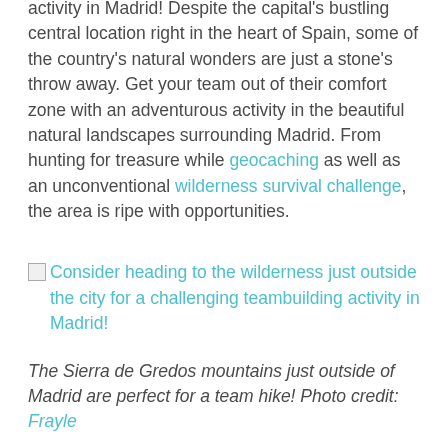activity in Madrid! Despite the capital's bustling central location right in the heart of Spain, some of the country's natural wonders are just a stone's throw away. Get your team out of their comfort zone with an adventurous activity in the beautiful natural landscapes surrounding Madrid. From hunting for treasure while geocaching as well as an unconventional wilderness survival challenge, the area is ripe with opportunities.
[Figure (photo): Image link placeholder followed by caption text: 'Consider heading to the wilderness just outside the city for a challenging teambuilding activity in Madrid!']
The Sierra de Gredos mountains just outside of Madrid are perfect for a team hike! Photo credit: Frayle